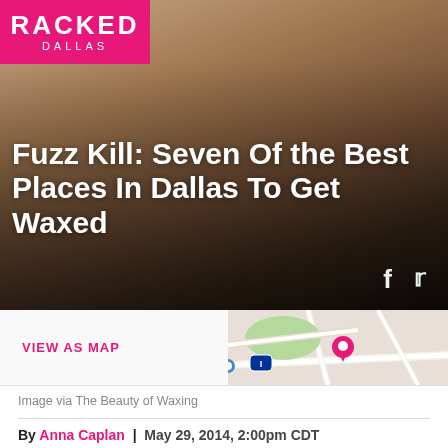[Figure (photo): Hero image with skin/body background and Racked Dallas logo overlay, article headline overlaid in white bold text]
Fuzz Kill: Seven Of the Best Places In Dallas To Get Waxed
[Figure (map): Horizontal bar with VIEW AS MAP link on left and partial map thumbnail on right showing roads and a pink location pin]
Image via The Beauty of Waxing
By Anna Caplan  |  May 29, 2014, 2:00pm CDT
Racked is no longer publishing. Thank you to everyone who read our work over the years. The archives will remain available here; for new stories, head over to Vox.com, where our staff is covering consumer culture for The Goods by Vox. You can also see what we're up to by